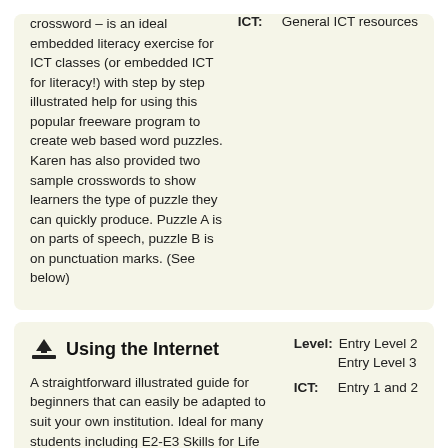crossword – is an ideal embedded literacy exercise for ICT classes (or embedded ICT for literacy!) with step by step illustrated help for using this popular freeware program to create web based word puzzles.
Karen has also provided two sample crosswords to show learners the type of puzzle they can quickly produce. Puzzle A is on parts of speech, puzzle B is on punctuation marks. (See below)
ICT: General ICT resources
Using the Internet
Level: Entry Level 2
Entry Level 3
ICT: Entry 1 and 2
A straightforward illustrated guide for beginners that can easily be adapted to suit your own institution. Ideal for many students including E2-E3 Skills for Life ICT.